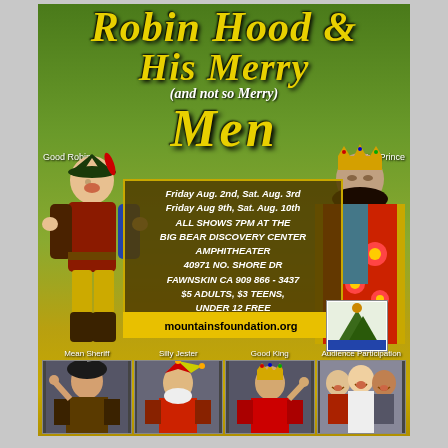ROBIN HOOD & HIS MERRY (and not so Merry) MEN
[Figure (illustration): Theater poster for Robin Hood & His Merry Men featuring characters: Good Robin, Evil Prince, Mean Sheriff, Silly Jester, Good King, Audience Participation]
Friday Aug. 2nd, Sat. Aug. 3rd
Friday Aug 9th, Sat. Aug. 10th
ALL SHOWS 7PM AT THE
BIG BEAR DISCOVERY CENTER
AMPHITHEATER
40971 NO. SHORE DR
FAWNSKIN CA 909 866 - 3437
$5 ADULTS, $3 TEENS,
UNDER 12 FREE
bigbeartheatreproject.com
mountainsfoundation.org